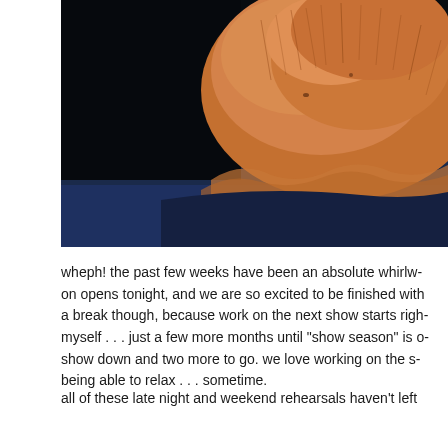[Figure (photo): Close-up photo of a ginger/orange cat's fur against a dark navy blue fabric background. The fur is fluffy and detailed, shown from above.]
wheph!  the past few weeks have been an absolute whirlw- on opens tonight, and we are so excited to be finished with a break though, because work on the next show starts righ- myself . . . just a few more months until "show season" is o- show down and two more to go.  we love working on the s- being able to relax . . . sometime.
all of these late night and weekend rehearsals haven't left